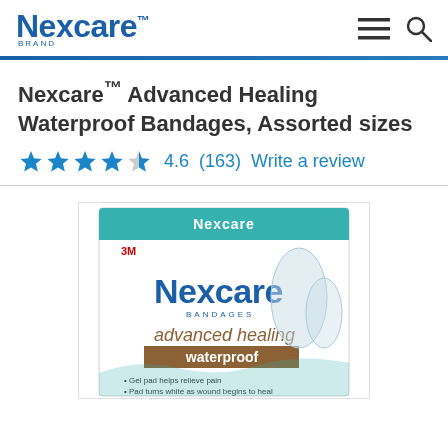[Figure (logo): Nexcare brand logo in blue]
Nexcare™ Advanced Healing Waterproof Bandages, Assorted sizes
4.6 (163)   Write a review
[Figure (photo): Nexcare Advanced Healing Waterproof Bandages product box showing 3M Nexcare branding, advanced healing waterproof text, with bandage images and bullet points: Gel pad helps relieve pain, Pad turns white as wound begins to heal]